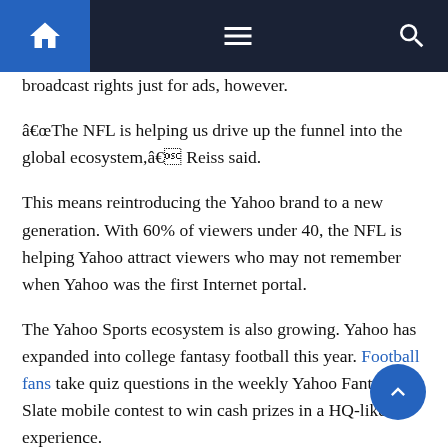Navigation bar with home, menu, and search icons
broadcast rights just for ads, however.
â€œThe NFL is helping us drive up the funnel into the global ecosystem,â€ Reiss said.
This means reintroducing the Yahoo brand to a new generation. With 60% of viewers under 40, the NFL is helping Yahoo attract viewers who may not remember when Yahoo was the first Internet portal.
The Yahoo Sports ecosystem is also growing. Yahoo has expanded into college fantasy football this year. Football fans take quiz questions in the weekly Yahoo Fantasy Slate mobile contest to win cash prizes in a HQ-like experience.
Yahoo has also created its own version of SportsCenter for the app called “The Rush”. The three-minute program